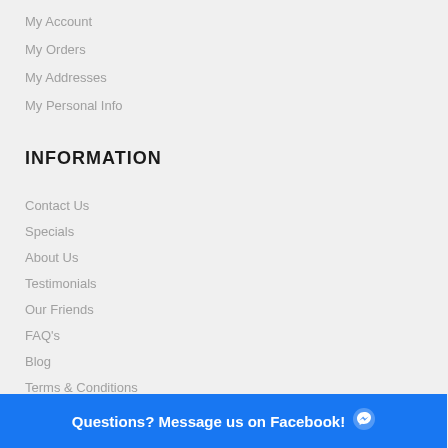My Account
My Orders
My Addresses
My Personal Info
INFORMATION
Contact Us
Specials
About Us
Testimonials
Our Friends
FAQ's
Blog
Terms & Conditions
Sitemap
Questions? Message us on Facebook!